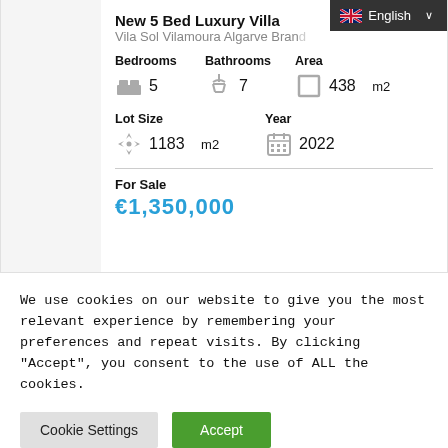New 5 Bed Luxury Villa
Vila Sol Vilamoura Algarve Bran...
Bedrooms  Bathrooms  Area
5   7   438 m2
Lot Size  Year
1183 m2   2022
For Sale
€1,350,000
We use cookies on our website to give you the most relevant experience by remembering your preferences and repeat visits. By clicking “Accept”, you consent to the use of ALL the cookies.
Cookie Settings
Accept